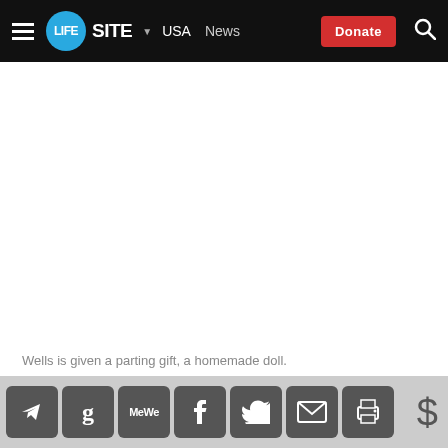LifeSite — USA News — Donate
[Figure (other): White blank advertisement area]
Wells is given a parting gift, a homemade doll.
Many have worked fields, barefoot, at the age of 8 or 9 and returned home to find no food on the table.
[Figure (other): Social sharing toolbar with icons: Telegram, Goodreads, MeWe, Facebook, Twitter, Email, Print, and Dollar sign]